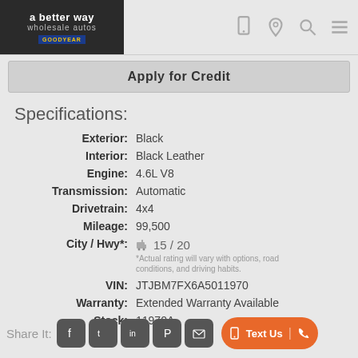a better way wholesale autos
Apply for Credit
Specifications:
| Field | Value |
| --- | --- |
| Exterior: | Black |
| Interior: | Black Leather |
| Engine: | 4.6L V8 |
| Transmission: | Automatic |
| Drivetrain: | 4x4 |
| Mileage: | 99,500 |
| City / Hwy*: | 15 / 20  *Actual rating will vary with options, road conditions, and driving habits. |
| VIN: | JTJBM7FX6A5011970 |
| Warranty: | Extended Warranty Available |
| Stock: | 11970A |
Share It: